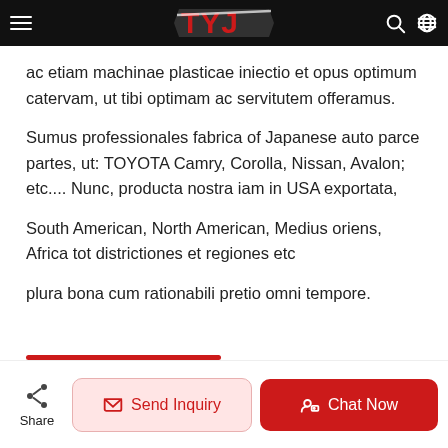[Figure (logo): TYJ brand logo in red on black navigation bar with hamburger menu, search icon, and globe icon]
ac etiam machinae plasticae iniectio et opus optimum catervam, ut tibi optimam ac servitutem offeramus. Sumus professionales fabrica of Japanese auto parce partes, ut: TOYOTA Camry, Corolla, Nissan, Avalon; etc.... Nunc, producta nostra iam in USA exportata, South American, North American, Medius oriens, Africa tot districtiones et regiones etc plura bona cum rationabili pretio omni tempore.
[Figure (infographic): Bottom action bar with Share button, Send Inquiry button (light red), and Chat Now button (red)]